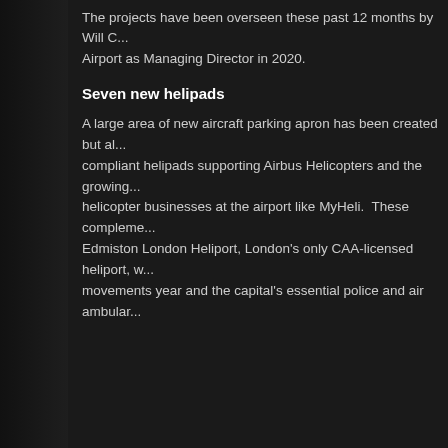The projects have been overseen these past 12 months by Will C... Airport as Managing Director in 2020.
Seven new helipads
A large area of new aircraft parking apron has been created but al... compliant helipads supporting Airbus Helicopters and the growing... helicopter businesses at the airport like MyHeli. These compleme... Edmiston London Heliport, London's only CAA-licensed heliport, w... movements year and the capital's essential police and air ambular...
[Figure (screenshot): Pink/magenta 'Start now' button on dark teal background with decorative dots]
Privacy & Cookies: This site uses cookies. By continuing to use this website, you agree to their use.
To find out more, including how to control cookies, see here: Cookie Policy
Close and accept